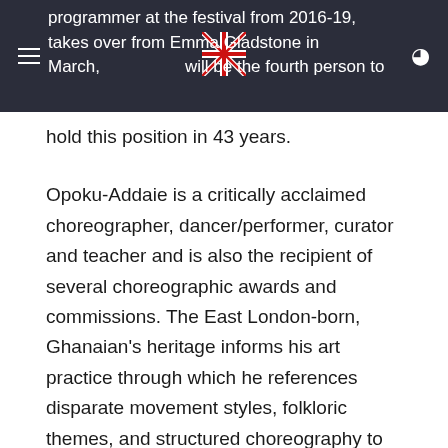programmer at the festival from 2016-19, takes over from Emma Gladstone in March, will be the fourth person to hold this position in 43 years.
hold this position in 43 years.
Opoku-Addaie is a critically acclaimed choreographer, dancer/performer, curator and teacher and is also the recipient of several choreographic awards and commissions. The East London-born, Ghanaian’s heritage informs his art practice through which he references disparate movement styles, folkloric themes, and structured choreography to make witty, conversational, and affecting work.
He was Guest Programmer for Dance Umbrella during a three-year initiative from 2016-2019. His Out Of The System programme presented exhilarating work by dance